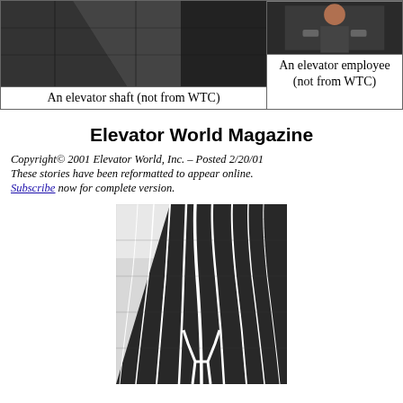[Figure (photo): An elevator shaft interior, dark metallic walls (not from WTC)]
An elevator shaft (not from WTC)
[Figure (photo): An elevator employee working (not from WTC)]
An elevator employee (not from WTC)
Elevator World Magazine
Copyright© 2001 Elevator World, Inc. – Posted 2/20/01
These stories have been reformatted to appear online.
Subscribe now for complete version.
[Figure (photo): Looking up at the World Trade Center towers from below, showing the distinctive vertical ribbed facade converging toward the sky]